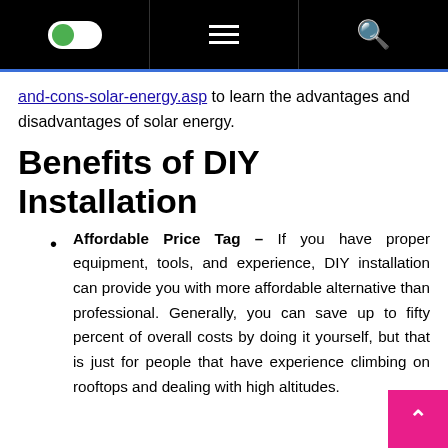[toggle] [menu] [search]
and-cons-solar-energy.asp to learn the advantages and disadvantages of solar energy.
Benefits of DIY Installation
Affordable Price Tag – If you have proper equipment, tools, and experience, DIY installation can provide you with more affordable alternative than professional. Generally, you can save up to fifty percent of overall costs by doing it yourself, but that is just for people that have experience climbing on rooftops and dealing with high altitudes.